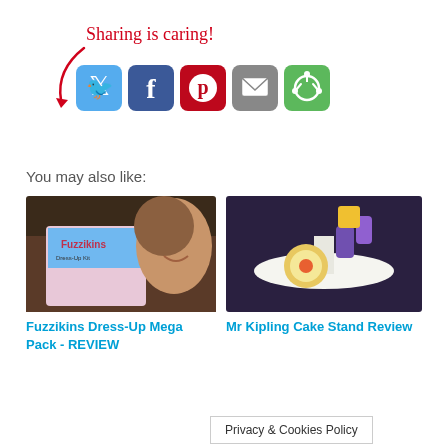[Figure (infographic): Sharing is caring! section with social share buttons for Twitter, Facebook, Pinterest, Email, and a circular share icon. Red arrow and handwritten red text label.]
You may also like:
[Figure (photo): Photo of a smiling child holding a Fuzzikins Dress-Up Mega Pack toy box]
Fuzzikins Dress-Up Mega Pack - REVIEW
[Figure (photo): Photo of a Mr Kipling cake stand with biscuits and cake decorations in yellow and purple]
Mr Kipling Cake Stand Review
Privacy & Cookies Policy